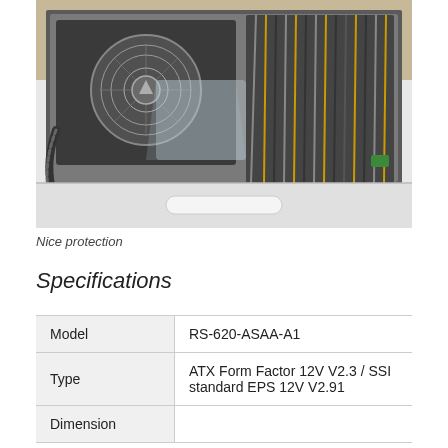[Figure (photo): A power supply unit inside an open white drawer-style box, showing the PSU fan, braided cables, and multiple cable bundles packed in foam/plastic protection.]
Nice protection
Specifications
| Model | RS-620-ASAA-A1 |
| Type | ATX Form Factor 12V V2.3 / SSI standard EPS 12V V2.91 |
| Dimension |  |